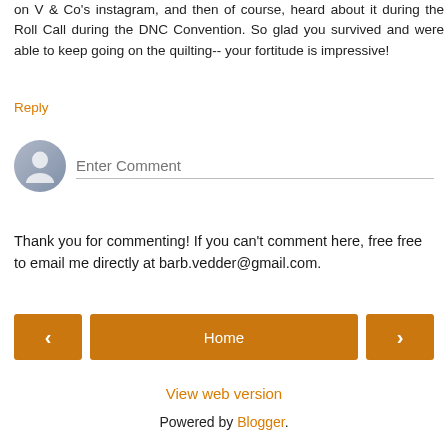on V & Co's instagram, and then of course, heard about it during the Roll Call during the DNC Convention. So glad you survived and were able to keep going on the quilting-- your fortitude is impressive!
Reply
[Figure (other): User avatar placeholder circle with default person silhouette icon, followed by an 'Enter Comment' input field with bottom border]
Thank you for commenting! If you can't comment here, free free to email me directly at barb.vedder@gmail.com.
Home navigation buttons with left arrow, Home, and right arrow
View web version
Powered by Blogger.